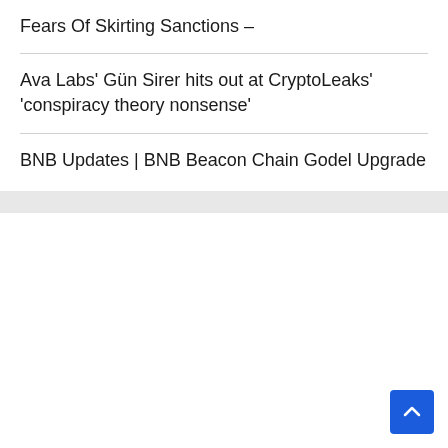Fears Of Skirting Sanctions –
Ava Labs' Gün Sirer hits out at CryptoLeaks' 'conspiracy theory nonsense'
BNB Updates | BNB Beacon Chain Godel Upgrade
[Figure (other): White content area below the list, with a blue scroll-to-top button in the bottom-right corner]